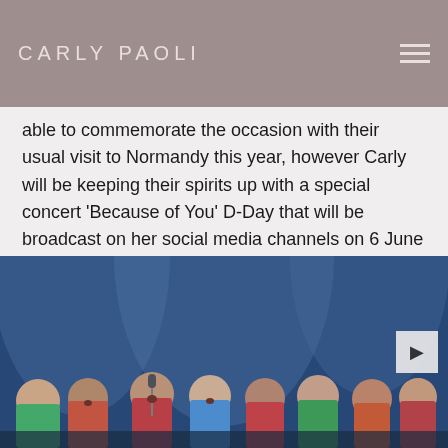CARLY PAOLI
able to commemorate the occasion with their usual visit to Normandy this year, however Carly will be keeping their spirits up with a special concert ‘Because of You’ D-Day that will be broadcast on her social media channels on 6 June 2020 at 7.00 pm (UK time).  [...]
Read more
[Figure (photo): Children choir singing on stage with blue stage lighting]